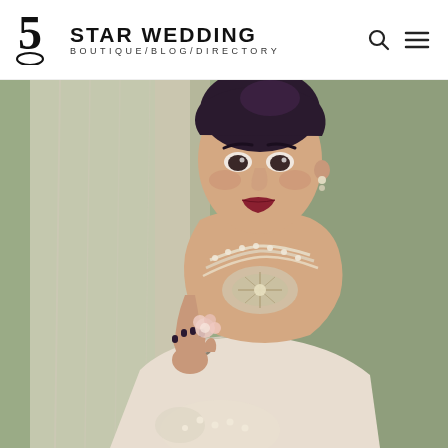[Figure (logo): 5 Star Wedding Boutique/Blog/Directory logo with stylized 5 and decorative swirl]
[Figure (photo): A bride wearing a pearl necklace and statement jeweled necklace, holding a small pink flower, with an updo hairstyle, smiling, wearing a strapless dress. Background includes white draping fabric and greenery.]